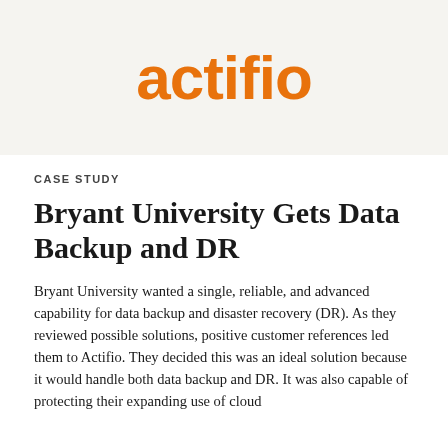[Figure (logo): Actifio logo in orange on a light beige/grey background]
CASE STUDY
Bryant University Gets Data Backup and DR
Bryant University wanted a single, reliable, and advanced capability for data backup and disaster recovery (DR). As they reviewed possible solutions, positive customer references led them to Actifio. They decided this was an ideal solution because it would handle both data backup and DR. It was also capable of protecting their expanding use of cloud